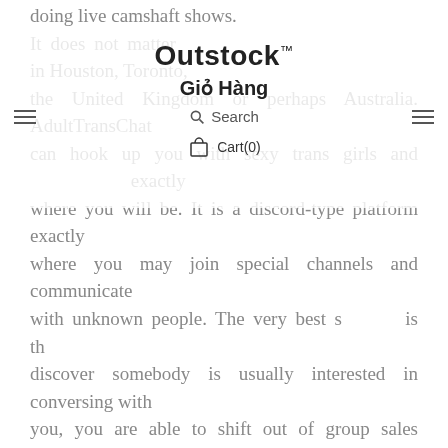doing live camshaft shows.
Outstock™ Giỏ Hàng Search Cart(0)
It does not matter if you are in Houston, Toronto, the United Kingdom or perhaps Australia. AdultTransChat can hook up you with sexy trans girls and dancers exactly where you will be. It is a discord-type platform exactly where you may join special channels and communicate with unknown people. The very best stage is that if you discover somebody is usually interested in conversing with you, you are able to shift out of group sales messages to personal texts quite swiftly. While the brand says every thing, SnapSext can be an adult chatting platform where you can meet up with strangers and speak spotted with these people.
LiveChat may be a relatively new lonely people chatline that may be geared toward mature hunting for fun and entertainment. Females can connect for free of charge whilst guys can easily join for a low charge subsequent taking advantage of the free trial. Despite the fact there is